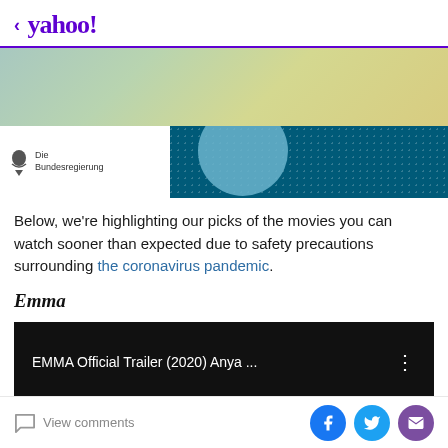< yahoo!
[Figure (screenshot): Gradient banner with teal, green, and yellow tones above a dark teal card showing the Die Bundesregierung logo and a dotted pattern with a light blue circle]
Below, we’re highlighting our picks of the movies you can watch sooner than expected due to safety precautions surrounding the coronavirus pandemic.
Emma
[Figure (screenshot): Black video player thumbnail showing text: EMMA Official Trailer (2020) Anya ... with a three-dot menu icon]
View comments